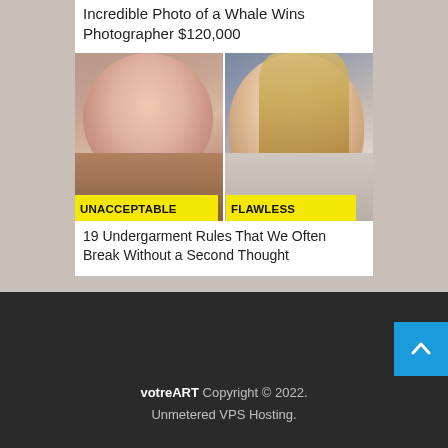Incredible Photo of a Whale Wins Photographer $120,000
[Figure (photo): Two side-by-side celebrity photos labeled UNACCEPTABLE (left) and FLAWLESS (right) with yellow banner labels at the bottom]
19 Undergarment Rules That We Often Break Without a Second Thought
votreART Copyright © 2022. Unmetered VPS Hosting.